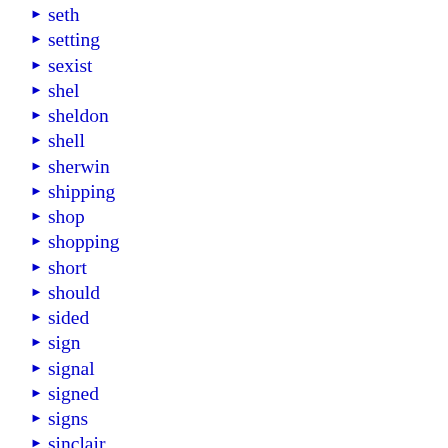seth
setting
sexist
shel
sheldon
shell
sherwin
shipping
shop
shopping
short
should
sided
sign
signal
signed
signs
sinclair
single
skelly
small
smiths
soda